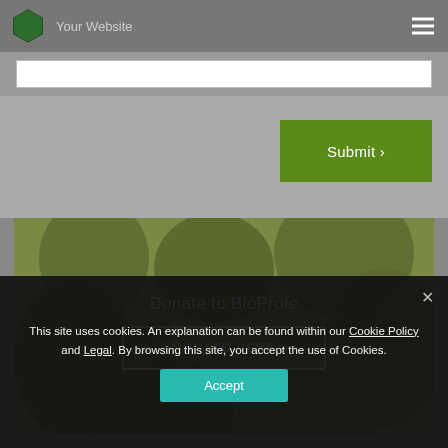Your Website
[Figure (screenshot): Green hexagon logo in the top-left corner of the navigation bar]
Your Website
Submit ›
[Figure (photo): Group of people looking up at camera in a circle, with green tint overlay. Contains 'Donate to BioProfe' text and 'DONATE HERE' button.]
Donate to BioProfe
DONATE HERE
This site uses cookies. An explanation can be found within our Cookie Policy and Legal. By browsing this site, you accept the use of Cookies.
Accept